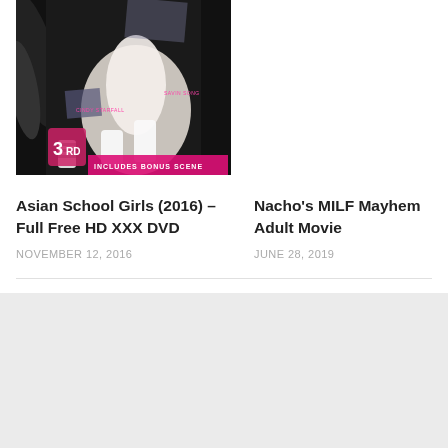[Figure (photo): DVD cover art for Asian School Girls (2016) showing performers in school uniforms with pink and black design, includes text 'CINDY STARFALL', 'SAVIN SONG', '3RD', 'INCLUDES BONUS SCENE']
Asian School Girls (2016) – Full Free HD XXX DVD
NOVEMBER 12, 2016
Nacho's MILF Mayhem Adult Movie
JUNE 28, 2019